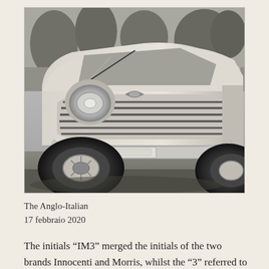[Figure (photo): Black and white photograph of a vintage Innocenti IM3 automobile, shot from the front-left angle, showing the distinctive horizontal grille, round headlights, and a front tyre. Trees visible in the background.]
The Anglo-Italian
17 febbraio 2020
The initials “IM3” merged the initials of the two brands Innocenti and Morris, whilst the “3” referred to the third